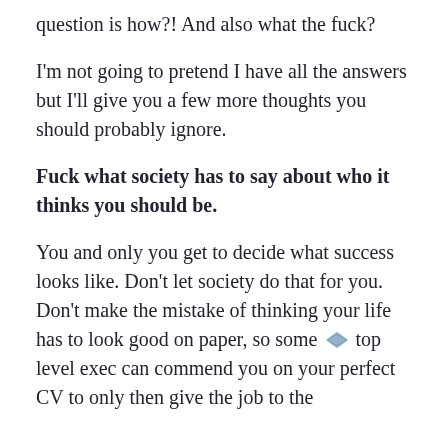question is how?! And also what the fuck?
I'm not going to pretend I have all the answers but I'll give you a few more thoughts you should probably ignore.
Fuck what society has to say about who it thinks you should be.
You and only you get to decide what success looks like. Don't let society do that for you. Don't make the mistake of thinking your life has to look good on paper, so some top level exec can commend you on your perfect CV to only then give the job to the